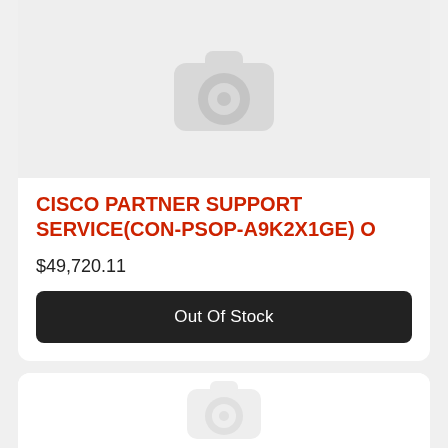[Figure (photo): Placeholder product image with camera icon on light gray background]
CISCO PARTNER SUPPORT SERVICE(CON-PSOP-A9K2X1GE) O
$49,720.11
Out Of Stock
[Figure (photo): Second product card placeholder image, partially visible at bottom of page]